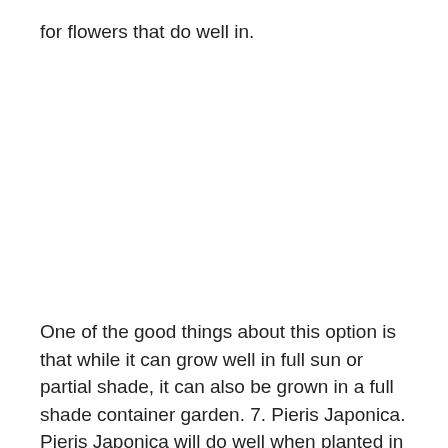for flowers that do well in.
One of the good things about this option is that while it can grow well in full sun or partial shade, it can also be grown in a full shade container garden. 7. Pieris Japonica. Pieris Japonica will do well when planted in a container